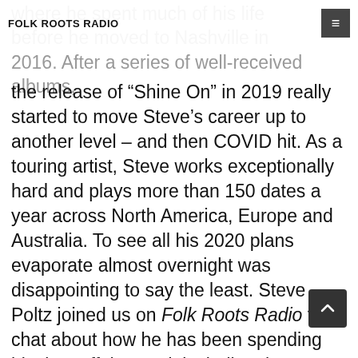FOLK ROOTS RADIO
where he spent much of his life before he moved to Nashville in 2016. After a series of well-received albums, the release of "Shine On" in 2019 really started to move Steve's career up to another level – and then COVID hit. As a touring artist, Steve works exceptionally hard and plays more than 150 dates a year across North America, Europe and Australia. To see all his 2020 plans evaporate almost overnight was disappointing to say the least. Steve Poltz joined us on Folk Roots Radio to chat about how he has been spending his time off the road, including the release of a wonderful new lockdown single, appropriately entitled "Quarantine Blues". Watch the video version of this interview on our sister show the Sun Parlour Coffee House Sessions HERE. For more information about the music of Steve Poltz visit poltz.com. Music: Steve Poltz "Quarantine Blues" (single) (2020, 98 Pounder Records / Compass Records), "Ballin On A Wednesday" from "Shine On" (2019, 98 Pounder Records / ...